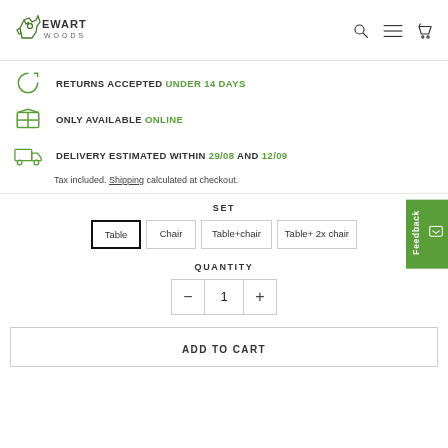[Figure (logo): Stewart Woods logo — stylized wolf head outline with text EWART WOODS]
RETURNS ACCEPTED UNDER 14 DAYS
ONLY AVAILABLE ONLINE
DELIVERY ESTIMATED WITHIN 29/08 AND 12/09
Tax included. Shipping calculated at checkout.
SET
Table  Chair  Table+chair  Table+ 2x chair
QUANTITY
1
ADD TO CART